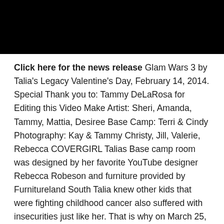[Figure (photo): Black banner/image area at top of page]
Click here for the news release Glam Wars 3 by Talia's Legacy Valentine's Day, February 14, 2014. Special Thank you to: Tammy DeLaRosa for Editing this Video Make Artist: Sheri, Amanda, Tammy, Mattia, Desiree Base Camp: Terri & Cindy Photography: Kay & Tammy Christy, Jill, Valerie, Rebecca COVERGIRL Talias Base camp room was designed by her favorite YouTube designer Rebecca Robeson and furniture provided by Furnitureland South Talia knew other kids that were fighting childhood cancer also suffered with insecurities just like her. That is why on March 25, 2012, at the age of 12, Talia created the first Glam Wars. Talia could have had a second wish but instead she gave her second wish